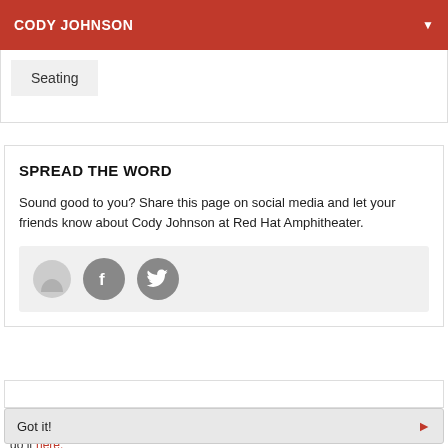CODY JOHNSON
Seating
SPREAD THE WORD
Sound good to you? Share this page on social media and let your friends know about Cody Johnson at Red Hat Amphitheater.
[Figure (illustration): Social sharing bar with generic icon, Facebook circle icon, and Twitter circle icon on a light grey background]
You know the drill, websites need cookies to make them work. Details of how we do it here.
Got it!